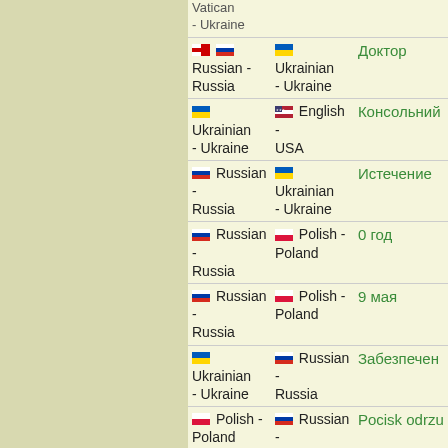| From | To | Word |
| --- | --- | --- |
| Vatican - Ukraine (partial) |  |  |
| 🇷🇺 Russian - Russia | 🇺🇦 Ukrainian - Ukraine | Доктор |
| 🇺🇦 Ukrainian - Ukraine | 🇺🇸 English - USA | Консольний |
| 🇷🇺 Russian - Russia | 🇺🇦 Ukrainian - Ukraine | Истечение |
| 🇷🇺 Russian - Russia | 🇵🇱 Polish - Poland | 0 год |
| 🇷🇺 Russian - Russia | 🇵🇱 Polish - Poland | 9 мая |
| 🇺🇦 Ukrainian - Ukraine | 🇷🇺 Russian - Russia | Забезпечен… |
| 🇵🇱 Polish - Poland | 🇷🇺 Russian - Russia | Pocisk odrzu… |
| 🇷🇺 Russian - Russia | 🇺🇦 Ukrainian - Ukraine | Заставить |
| 🇺🇦 Ukrainian - Ukraine | 🇨🇿 Czech - Czech Republic | Поспішати |
| 🇺🇦 Ukrainian - Ukraine | 🇷🇺 Russian - Russia | Правління |
| 🇺🇦 Ukrainian - Ukraine | 🇺🇸 English - USA | Back To The Heavyweigh… |